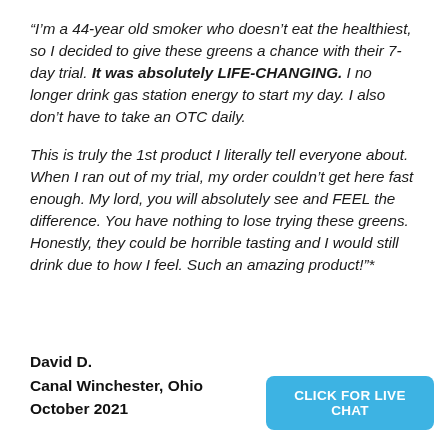“I'm a 44-year old smoker who doesn't eat the healthiest, so I decided to give these greens a chance with their 7-day trial. It was absolutely LIFE-CHANGING. I no longer drink gas station energy to start my day. I also don't have to take an OTC daily.

This is truly the 1st product I literally tell everyone about. When I ran out of my trial, my order couldn't get here fast enough. My lord, you will absolutely see and FEEL the difference. You have nothing to lose trying these greens. Honestly, they could be horrible tasting and I would still drink due to how I feel. Such an amazing product!”*
David D.
Canal Winchester, Ohio
October 2021
CLICK FOR LIVE CHAT